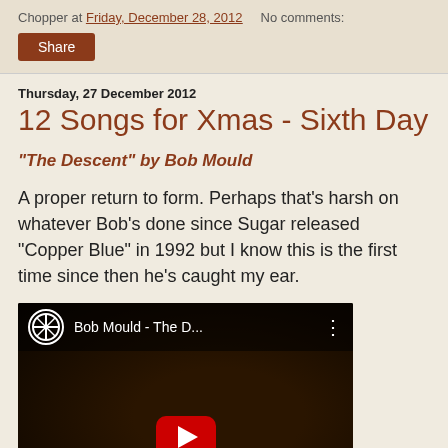Chopper at Friday, December 28, 2012   No comments:
Share
Thursday, 27 December 2012
12 Songs for Xmas - Sixth Day
"The Descent" by Bob Mould
A proper return to form. Perhaps that's harsh on whatever Bob's done since Sugar released "Copper Blue" in 1992 but I know this is the first time since then he's caught my ear.
[Figure (screenshot): YouTube video thumbnail for Bob Mould - The D... with play button]